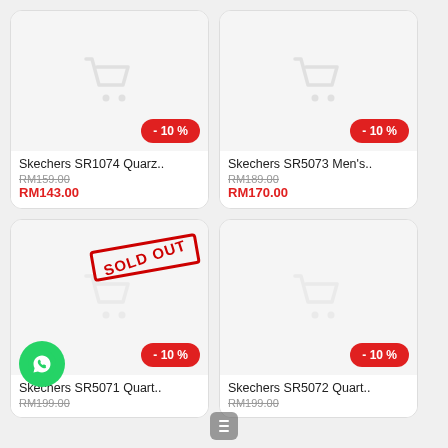[Figure (screenshot): Product card for Skechers SR1074 Quarz with -10% badge and original price RM159.00, sale price RM143.00]
[Figure (screenshot): Product card for Skechers SR5073 Men's with -10% badge and original price RM189.00, sale price RM170.00]
[Figure (screenshot): Product card for Skechers SR5071 Quart with SOLD OUT stamp, -10% badge, original price RM199.00]
[Figure (screenshot): Product card for Skechers SR5072 Quart with -10% badge, original price RM199.00]